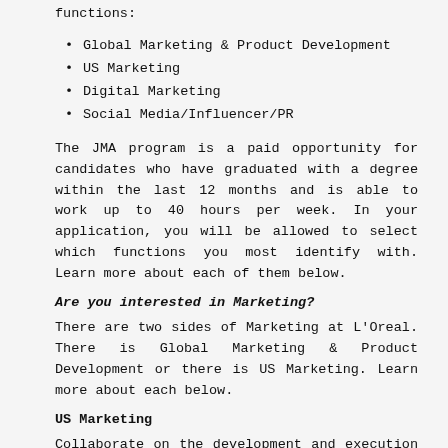functions:
Global Marketing & Product Development
US Marketing
Digital Marketing
Social Media/Influencer/PR
The JMA program is a paid opportunity for candidates who have graduated with a degree within the last 12 months and is able to work up to 40 hours per week. In your application, you will be allowed to select which functions you most identify with. Learn more about each of them below.
Are you interested in Marketing?
There are two sides of Marketing at L'Oreal. There is Global Marketing & Product Development or there is US Marketing. Learn more about each below.
US Marketing
Collaborate on the development and execution of 360 marketing plans to grow share on key pillars; contribute to the design of business strategies to accomplish brand goals and drive sales.